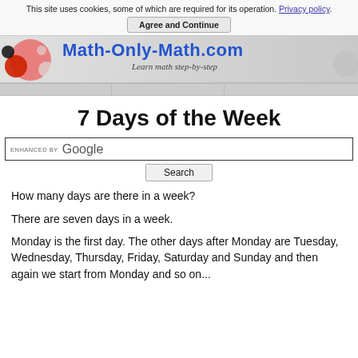This site uses cookies, some of which are required for its operation. Privacy policy. Agree and Continue
[Figure (logo): Math-Only-Math.com website banner with colorful circle graphics on left, site title in blue, and italic tagline 'Learn math step-by-step']
7 Days of the Week
[Figure (screenshot): Google search bar with 'ENHANCED BY Google' label and Search button]
How many days are there in a week?
There are seven days in a week.
Monday is the first day. The other days after Monday are Tuesday, Wednesday, Thursday, Friday, Saturday and Sunday and then again we start from Monday and so on...